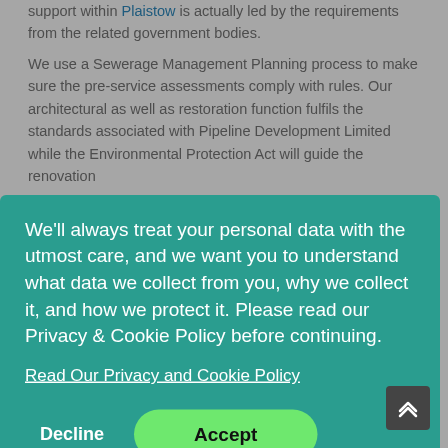support within Plaistow is actually led by the requirements from the related government bodies.
We use a Sewerage Management Planning process to make sure the pre-service assessments comply with rules. Our architectural as well as restoration function fulfils the standards associated with Pipeline Development Limited while the Environmental Protection Act will guide the renovation
[Figure (screenshot): Cookie consent modal overlay with teal background. Text reads: 'We'll always treat your personal data with the utmost care, and we want you to understand what data we collect from you, why we collect it, and how we protect it. Please read our Privacy & Cookie Policy before continuing.' Link: 'Read Our Privacy and Cookie Policy'. Two buttons: 'Decline' (white text) and 'Accept' (green button with black text).]
that is
to the something
the world at perhaps something within